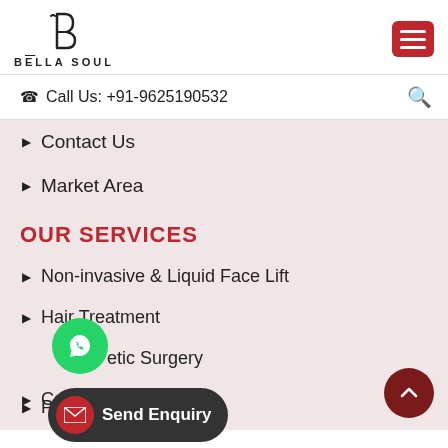[Figure (logo): Bella Soul logo with stylized B and brand name]
Call Us: +91-9625190532
Contact Us
Market Area
OUR SERVICES
Non-invasive & Liquid Face Lift
Hair Treatment
etic Surgery
Cosmetology & Laser
Permanent Makeup
[Figure (illustration): WhatsApp floating button (green circle with WhatsApp icon)]
[Figure (illustration): Send Enquiry floating button (dark pill with red mail icon)]
[Figure (illustration): Scroll to top floating button (dark red circle with up chevron)]